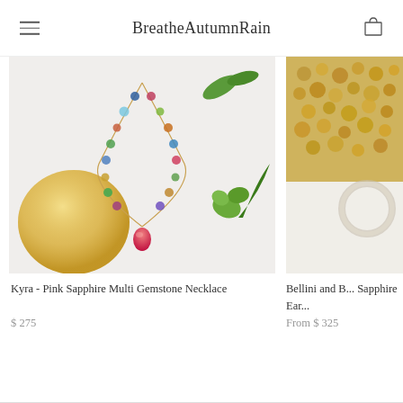BreatheAutumnRain
[Figure (photo): Kyra Pink Sapphire Multi Gemstone Necklace product photo showing colorful gemstone necklace on white background with green leaves and a glass orb]
Kyra - Pink Sapphire Multi Gemstone Necklace
$ 275
[Figure (photo): Bellini and B... Sapphire Ear... product photo partially visible showing golden textured item and glass ring on white background]
Bellini and B... Sapphire Ear...
From $ 325